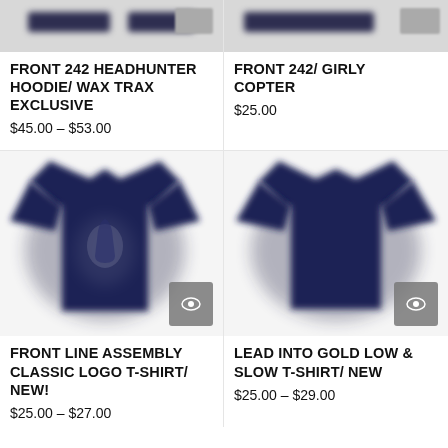[Figure (photo): Partial top of a hoodie product image, blurred/cropped]
FRONT 242 HEADHUNTER HOODIE/ WAX TRAX EXCLUSIVE
$45.00 – $53.00
[Figure (photo): Partial top of a t-shirt product image, blurred/cropped]
FRONT 242/ GIRLY COPTER
$25.00
[Figure (photo): Navy blue t-shirt with faint logo, Front Line Assembly Classic Logo T-Shirt]
FRONT LINE ASSEMBLY CLASSIC LOGO T-SHIRT/ NEW!
$25.00 – $27.00
[Figure (photo): Navy blue t-shirt plain, Lead Into Gold Low & Slow T-Shirt]
LEAD INTO GOLD LOW & SLOW T-SHIRT/ NEW
$25.00 – $29.00